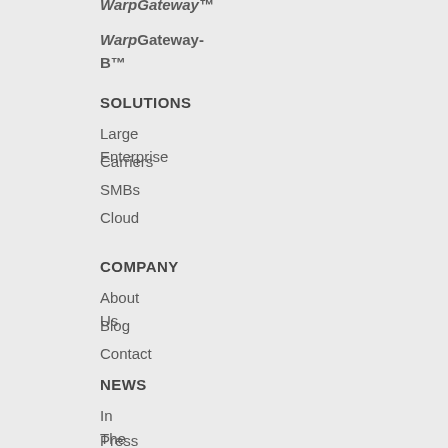WarpGateway™
WarpGateway-B™
SOLUTIONS
Large Enterprise
Carriers
SMBs
Cloud
COMPANY
About Us
Blog
Contact
NEWS
In The News
Press Releases
Press Kit